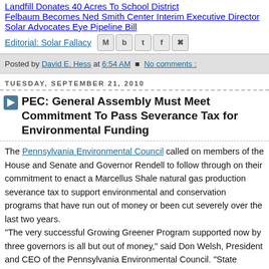Landfill Donates 40 Acres To School District
Felbaum Becomes Ned Smith Center Interim Executive Director
Solar Advocates Eye Pipeline Bill
Editorial: Solar Fallacy
Posted by David E. Hess at 6:54 AM  No comments :
TUESDAY, SEPTEMBER 21, 2010
PEC: General Assembly Must Meet Commitment To Pass Severance Tax for Environmental Funding
The Pennsylvania Environmental Council called on members of the House and Senate and Governor Rendell to follow through on their commitment to enact a Marcellus Shale natural gas production severance tax to support environmental and conservation programs that have run out of money or been cut severely over the last two years. "The very successful Growing Greener Program supported now by three governors is all but out of money," said Don Welsh, President and CEO of the Pennsylvania Environmental Council. "State agencies like the departments of Environmental Protection and Conservation and Natural Resources had their General Fund budgets cut by 20 to 25 percent and more over the last two years.